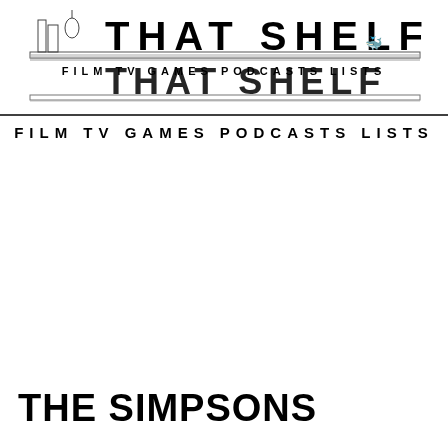[Figure (logo): That Shelf website logo — stylized bookshelf illustration with large bold letters spelling THAT SHELF, shown twice as if double-printed or reflected. Navigation menu items: FILM TV GAMES PODCASTS LISTS appear twice.]
FILM  TV  GAMES  PODCASTS  LISTS
THE SIMPSONS